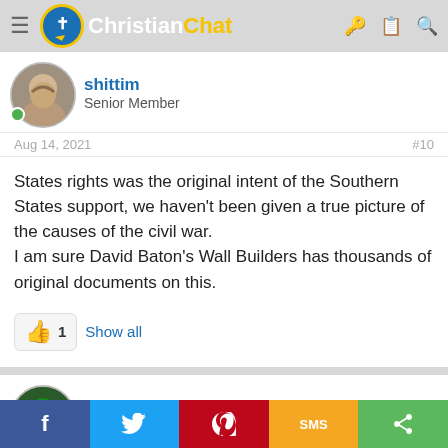Christian Chat
shittim
Senior Member
Aug 14, 2021  #10
States rights was the original intent of the Southern States support, we haven't been given a true picture of the causes of the civil war.
I am sure David Baton's Wall Builders has thousands of original documents on this.
👍 1  Show all
shittim